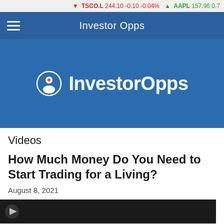↓ TSCO.L 244.10 -0.10 -0.04%   ↑ AAPL 157.96 0.7
Investor Opps
[Figure (logo): InvestorOpps logo on blue background — circular icon with person silhouette and 'InvestorOpps' text in white]
Videos
How Much Money Do You Need to Start Trading for a Living?
August 8, 2021
[Figure (photo): Video thumbnail strip — dark background, partially visible]